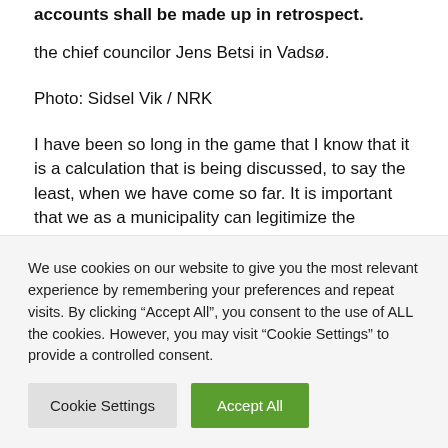accounts shall be made up in retrospect.
the chief councilor Jens Betsi in Vadsø.
Photo: Sidsel Vik / NRK
I have been so long in the game that I know that it is a calculation that is being discussed, to say the least, when we have come so far. It is important that we as a municipality can legitimize the expenses we have had. So get the state to ultimately take a position on them," says Betsi.
We use cookies on our website to give you the most relevant experience by remembering your preferences and repeat visits. By clicking "Accept All", you consent to the use of ALL the cookies. However, you may visit "Cookie Settings" to provide a controlled consent.